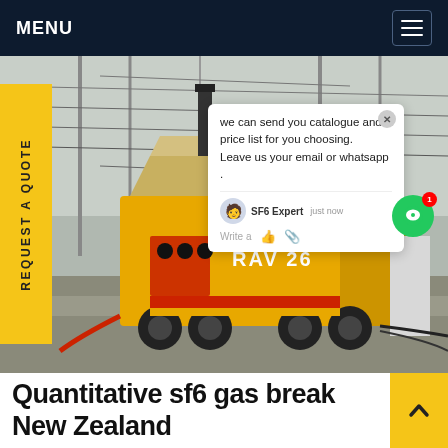MENU
[Figure (photo): Yellow truck with SF6 gas handling equipment at an electrical substation, with pylons and cables in the background.]
REQUEST A QUOTE
we can send you catalogue and price list for you choosing. Leave us your email or whatsapp .
SF6 Expert  just now
Write a
Quantitative sf6 gas break New Zealand